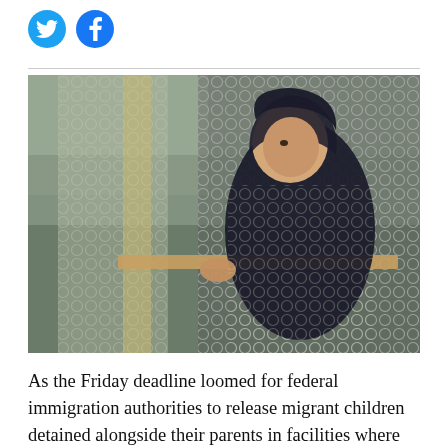[Figure (other): Social media share icons: Twitter (blue bird) and Facebook (blue f)]
[Figure (photo): A child in a dark hooded jacket stands holding onto a chain-link fence, looking to the side. Background shows a blurred outdoor setting.]
As the Friday deadline loomed for federal immigration authorities to release migrant children detained alongside their parents in facilities where COVID-19 is spreading, the